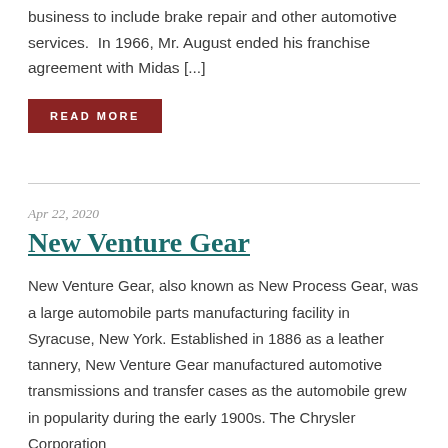business to include brake repair and other automotive services.  In 1966, Mr. August ended his franchise agreement with Midas [...]
READ MORE
Apr 22, 2020
New Venture Gear
New Venture Gear, also known as New Process Gear, was a large automobile parts manufacturing facility in Syracuse, New York. Established in 1886 as a leather tannery, New Venture Gear manufactured automotive transmissions and transfer cases as the automobile grew in popularity during the early 1900s. The Chrysler Corporation